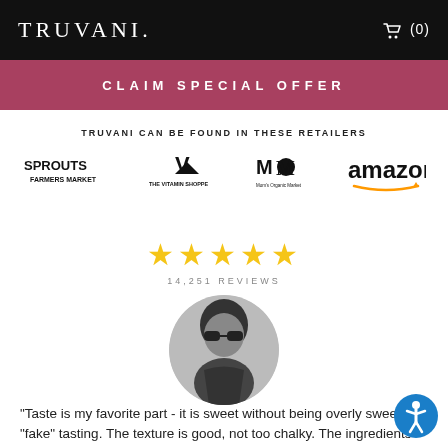TRUVANI. (0)
CLAIM SPECIAL OFFER
TRUVANI CAN BE FOUND IN THESE RETAILERS
[Figure (logo): Retailer logos: Sprouts Farmers Market, The Vitamin Shoppe, Mom's Organic Market, Amazon]
[Figure (infographic): Five gold star rating with 14,251 REVIEWS text below]
[Figure (photo): Circular black and white profile photo of a person wearing sunglasses]
"Taste is my favorite part - it is sweet without being overly sweet or "fake" tasting. The texture is good, not too chalky. The ingredients